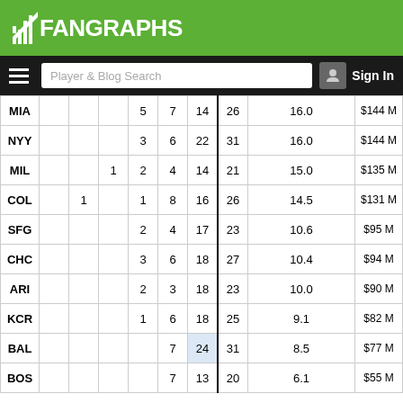FanGraphs
| Team |  |  |  |  |  |  | Total | WAR | $ |
| --- | --- | --- | --- | --- | --- | --- | --- | --- | --- |
| MIA |  |  |  | 5 | 7 | 14 | 26 | 16.0 | $144 M |
| NYY |  |  |  | 3 | 6 | 22 | 31 | 16.0 | $144 M |
| MIL |  |  | 1 | 2 | 4 | 14 | 21 | 15.0 | $135 M |
| COL |  | 1 |  | 1 | 8 | 16 | 26 | 14.5 | $131 M |
| SFG |  |  |  | 2 | 4 | 17 | 23 | 10.6 | $95 M |
| CHC |  |  |  | 3 | 6 | 18 | 27 | 10.4 | $94 M |
| ARI |  |  |  | 2 | 3 | 18 | 23 | 10.0 | $90 M |
| KCR |  |  |  | 1 | 6 | 18 | 25 | 9.1 | $82 M |
| BAL |  |  |  |  | 7 | 24 | 31 | 8.5 | $77 M |
| BOS |  |  |  |  | 7 | 13 | 20 | 6.1 | $55 M |